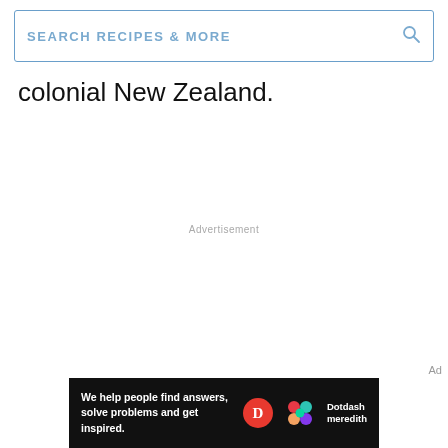SEARCH RECIPES & MORE
colonial New Zealand.
Advertisement
Ad
[Figure (other): Dotdash Meredith advertisement banner with text: We help people find answers, solve problems and get inspired. Features the Dotdash D logo in red circle and colorful Dotdash Meredith logo.]